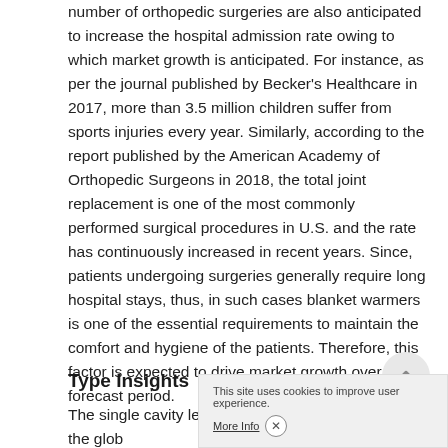number of orthopedic surgeries are also anticipated to increase the hospital admission rate owing to which market growth is anticipated. For instance, as per the journal published by Becker's Healthcare in 2017, more than 3.5 million children suffer from sports injuries every year. Similarly, according to the report published by the American Academy of Orthopedic Surgeons in 2018, the total joint replacement is one of the most commonly performed surgical procedures in U.S. and the rate has continuously increased in recent years. Since, patients undergoing surgeries generally require long hospital stays, thus, in such cases blanket warmers is one of the essential requirements to maintain the comfort and hygiene of the patients. Therefore, this factor is expected to drive market growth over the forecast period.
Type Insights
The single cavity led the ma... than 60.3% share of the glob...